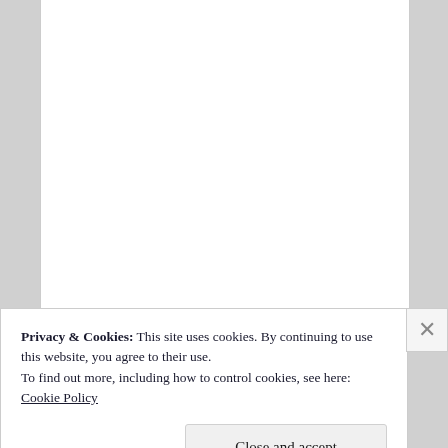[Figure (screenshot): White document/webpage area, mostly blank content visible above a cookie consent banner overlay]
Privacy & Cookies: This site uses cookies. By continuing to use this website, you agree to their use.
To find out more, including how to control cookies, see here: Cookie Policy
Close and accept